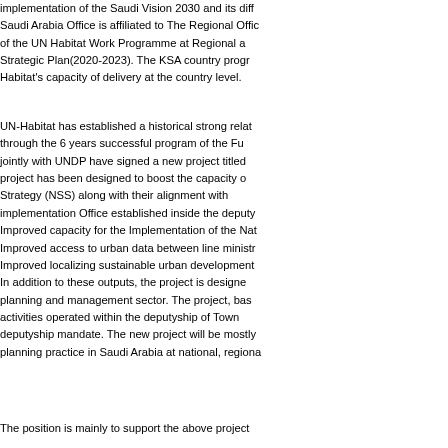implementation of the Saudi Vision 2030 and its diff... Saudi Arabia Office is affiliated to The Regional Offic... of the UN Habitat Work Programme at Regional a... Strategic Plan(2020-2023). The KSA country progr... Habitat's capacity of delivery at the country level.
UN-Habitat has established a historical strong relat... through the 6 years successful program of the Fu... jointly with UNDP have signed a new project titled... project has been designed to boost the capacity o... Strategy (NSS) along with their alignment with ... implementation Office established inside the deputy... Improved capacity for the Implementation of the Nat... Improved access to urban data between line ministr... Improved localizing sustainable urban development... In addition to these outputs, the project is designe... planning and management sector. The project, bas... activities operated within the deputyship of Town... deputyship mandate. The new project will be mostly... planning practice in Saudi Arabia at national, regiona...
The position is mainly to support the above project...